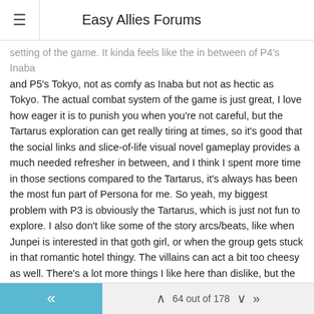Easy Allies Forums
setting of the game. It kinda feels like the in between of P4's Inaba and P5's Tokyo, not as comfy as Inaba but not as hectic as Tokyo. The actual combat system of the game is just great, I love how eager it is to punish you when you're not careful, but the Tartarus exploration can get really tiring at times, so it's good that the social links and slice-of-life visual novel gameplay provides a much needed refresher in between, and I think I spent more time in those sections compared to the Tartarus, it's always has been the most fun part of Persona for me. So yeah, my biggest problem with P3 is obviously the Tartarus, which is just not fun to explore. I also don't like some of the story arcs/beats, like when Junpei is interested in that goth girl, or when the group gets stuck in that romantic hotel thingy. The villains can act a bit too cheesy as well. There's a lot more things I like here than dislike, but the Tartarus aspect is especially accentuated after playing Persona 4 and 5 and seeing all the gameplay improvements there. Still, it's more than good enough to be called a great game, and I would love to revisit it again, maybe through a remaster of sorts. I hope Atlus gets to that someday.
64 out of 178